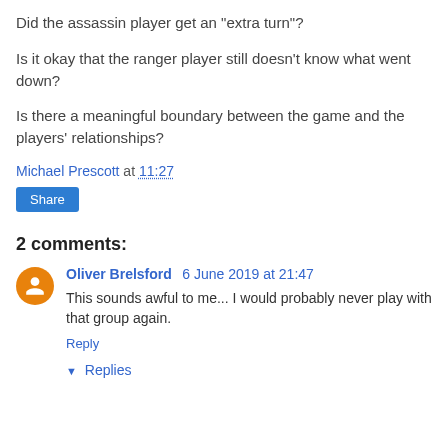Did the assassin player get an "extra turn"?
Is it okay that the ranger player still doesn't know what went down?
Is there a meaningful boundary between the game and the players' relationships?
Michael Prescott at 11:27
Share
2 comments:
Oliver Brelsford 6 June 2019 at 21:47
This sounds awful to me... I would probably never play with that group again.
Reply
Replies